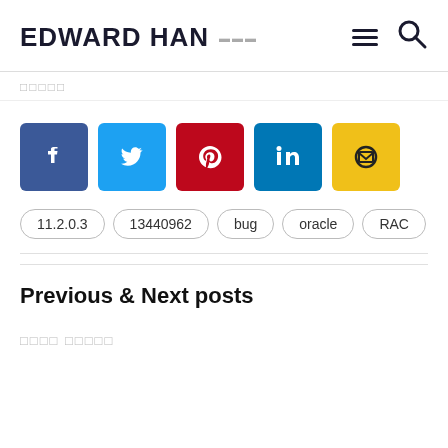EDWARD HAN
□□□□□
[Figure (other): Social sharing buttons: Facebook (blue), Twitter (cyan), Pinterest (red), LinkedIn (blue), Email (yellow)]
11.2.0.3
13440962
bug
oracle
RAC
Previous & Next posts
□□□□ □□□□□